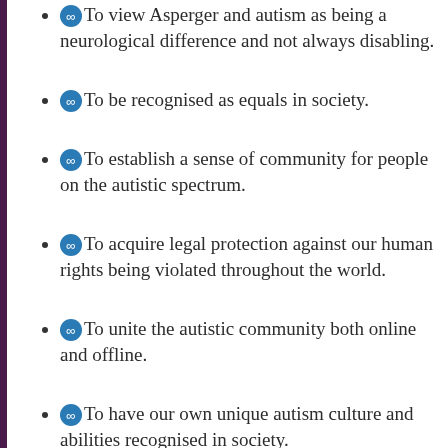To view Asperger and autism as being a neurological difference and not always disabling.
To be recognised as equals in society.
To establish a sense of community for people on the autistic spectrum.
To acquire legal protection against our human rights being violated throughout the world.
To unite the autistic community both online and offline.
To have our own unique autism culture and abilities recognised in society.
To have autistics recognised as an official